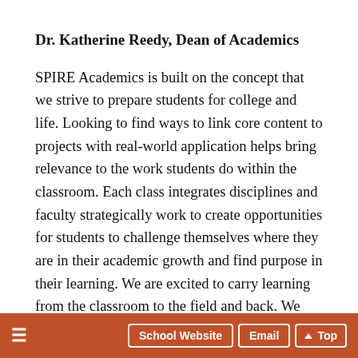Dr. Katherine Reedy, Dean of Academics
SPIRE Academics is built on the concept that we strive to prepare students for college and life. Looking to find ways to link core content to projects with real-world application helps bring relevance to the work students do within the classroom. Each class integrates disciplines and faculty strategically work to create opportunities for students to challenge themselves where they are in their academic growth and find purpose in their learning. We are excited to carry learning from the classroom to the field and back. We believe that
School Website  Email  ↑Top